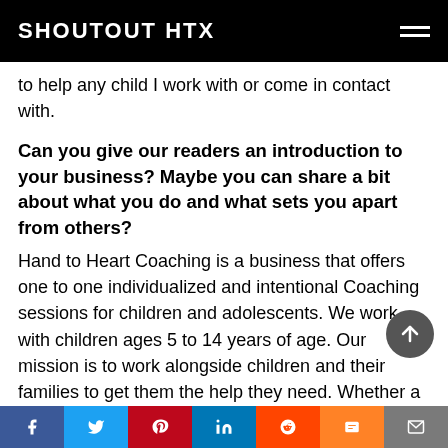SHOUTOUT HTX
to help any child I work with or come in contact with.
Can you give our readers an introduction to your business? Maybe you can share a bit about what you do and what sets you apart from others?
Hand to Heart Coaching is a business that offers one to one individualized and intentional Coaching sessions for children and adolescents. We work with children ages 5 to 14 years of age. Our mission is to work alongside children and their families to get them the help they need. Whether a child has low self-esteem, anxiety, or depression, we are to help as such a…ve ca…